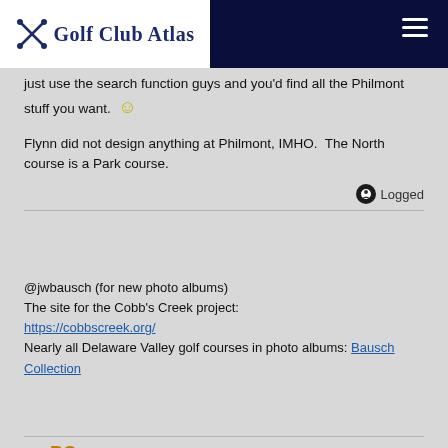Golf Club Atlas
just use the search function guys and you'd find all the Philmont stuff you want. 🙂
Flynn did not design anything at Philmont, IMHO.  The North course is a Park course.
Logged
@jwbausch (for new photo albums)
The site for the Cobb's Creek project:
https://cobbscreek.org/
Nearly all Delaware Valley golf courses in photo albums: Bausch Collection
BCowan
Re: Willie Park Jr (Course Listings)
« Reply #8 on: September 01,